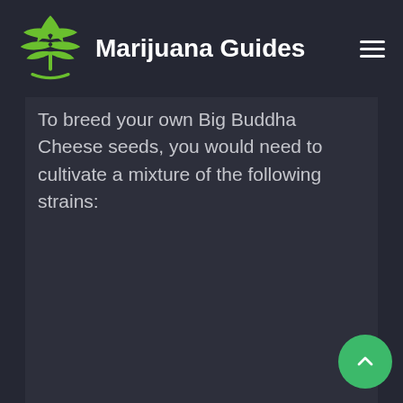Marijuana Guides
To breed your own Big Buddha Cheese seeds, you would need to cultivate a mixture of the following strains: